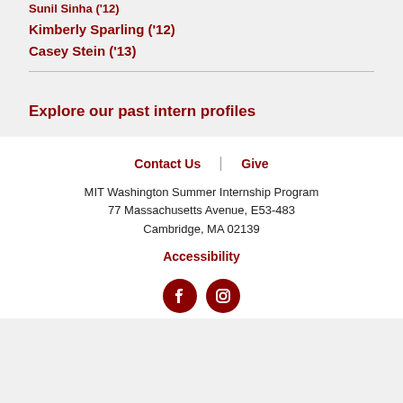Sunil Sinha ('12)
Kimberly Sparling ('12)
Casey Stein ('13)
Explore our past intern profiles
Contact Us | Give
MIT Washington Summer Internship Program
77 Massachusetts Avenue, E53-483
Cambridge, MA 02139
Accessibility